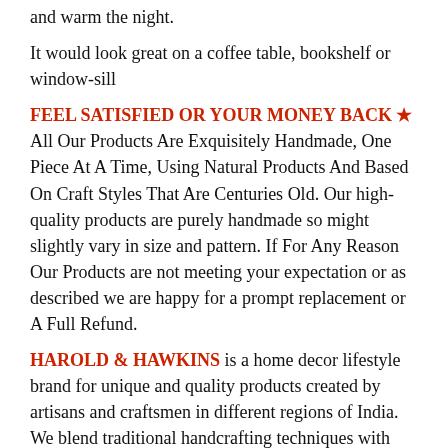and warm the night.
It would look great on a coffee table, bookshelf or window-sill
FEEL SATISFIED OR YOUR MONEY BACK ★ All Our Products Are Exquisitely Handmade, One Piece At A Time, Using Natural Products And Based On Craft Styles That Are Centuries Old. Our high-quality products are purely handmade so might slightly vary in size and pattern. If For Any Reason Our Products are not meeting your expectation or as described we are happy for a prompt replacement or A Full Refund.
HAROLD & HAWKINS is a home decor lifestyle brand for unique and quality products created by artisans and craftsmen in different regions of India. We blend traditional handcrafting techniques with